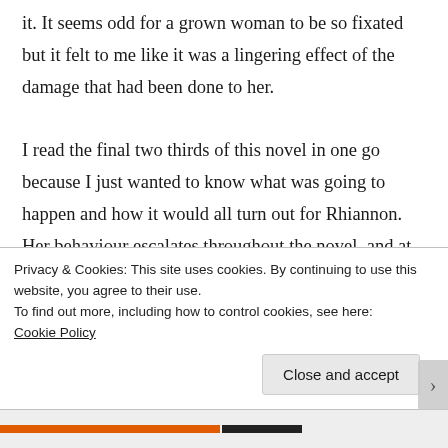it. It seems odd for a grown woman to be so fixated but it felt to me like it was a lingering effect of the damage that had been done to her.

I read the final two thirds of this novel in one go because I just wanted to know what was going to happen and how it would all turn out for Rhiannon. Her behaviour escalates throughout the novel, and at the same time there is are snapshot of a slightly more normal side of her emerging too so it becomes impossible to put the book down as you just want to know which side of her will win out. I was gripped by
Privacy & Cookies: This site uses cookies. By continuing to use this website, you agree to their use.
To find out more, including how to control cookies, see here: Cookie Policy

Close and accept